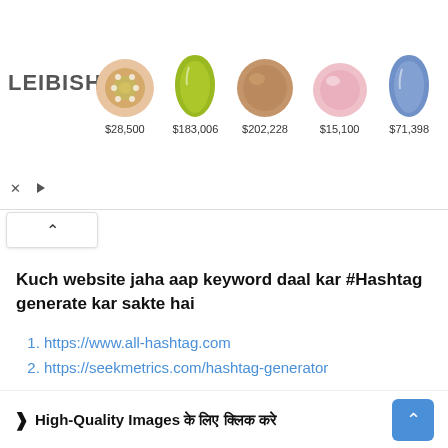[Figure (screenshot): Leibish jewelry advertisement banner showing 5 gemstones with prices: $28,500, $183,006, $202,228, $15,100, $71,398]
Kuch website jaha aap keyword daal kar #Hashtag generate kar sakte hai
https://www.all-hashtag.com
https://seekmetrics.com/hashtag-generator
> High-Quality Images के लिए क्लिक करे